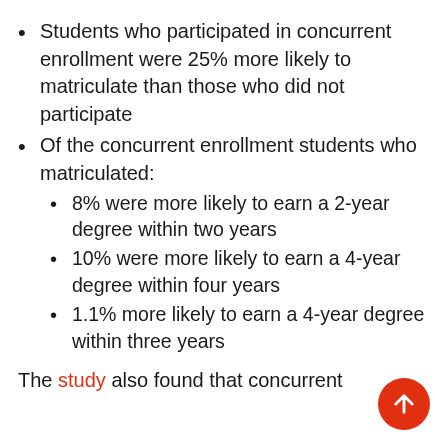Students who participated in concurrent enrollment were 25% more likely to matriculate than those who did not participate
Of the concurrent enrollment students who matriculated:
8% were more likely to earn a 2-year degree within two years
10% were more likely to earn a 4-year degree within four years
1.1% more likely to earn a 4-year degree within three years
The study also found that concurrent